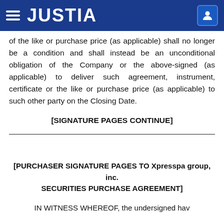JUSTIA
of the like or purchase price (as applicable) shall no longer be a condition and shall instead be an unconditional obligation of the Company or the above-signed (as applicable) to deliver such agreement, instrument, certificate or the like or purchase price (as applicable) to such other party on the Closing Date.
[SIGNATURE PAGES CONTINUE]
[PURCHASER SIGNATURE PAGES TO Xpresspa group, inc. SECURITIES PURCHASE AGREEMENT]
IN WITNESS WHEREOF, the undersigned hav